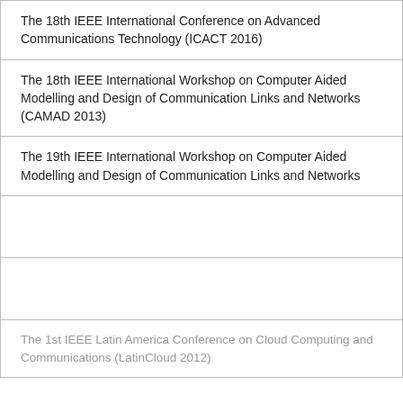The 18th IEEE International Conference on Advanced Communications Technology (ICACT 2016)
The 18th IEEE International Workshop on Computer Aided Modelling and Design of Communication Links and Networks (CAMAD 2013)
The 19th IEEE International Workshop on Computer Aided Modelling and Design of Communication Links and Networks
...ork
...ic and
The 1st IEEE Latin America Conference on Cloud Computing and Communications (LatinCloud 2012)
[Figure (screenshot): Cookie consent overlay banner on IEEE website. Black background with white text reading: 'IEEE websites place cookies on your device to give you the best user experience. By using our websites, you agree to the placement of these cookies. To learn more, read our Privacy Policy.' Below is a white 'Accept & Close' button.]